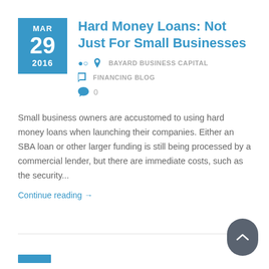Hard Money Loans: Not Just For Small Businesses
BAYARD BUSINESS CAPITAL
FINANCING BLOG
0
Small business owners are accustomed to using hard money loans when launching their companies. Either an SBA loan or other larger funding is still being processed by a commercial lender, but there are immediate costs, such as the security...
Continue reading →